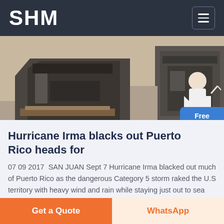SHM
[Figure (photo): Industrial machinery / heavy equipment in a warehouse or factory setting. Dark metal fabricated parts on a concrete floor.]
Hurricane Irma blacks out Puerto Rico heads for
07 09 2017  SAN JUAN Sept 7 Hurricane Irma blacked out much of Puerto Rico as the dangerous Category 5 storm raked the U.S territory with heavy wind and rain while staying just out to sea and it headed early Thursday toward the Dominican Republic and Haiti.
Get a Quote | WhatsApp